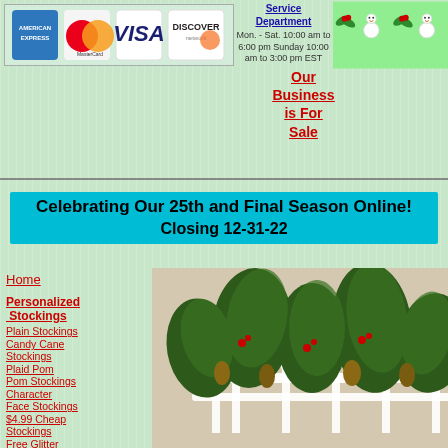[Figure (logo): Credit card logos: American Express, MasterCard, VISA, Discover]
Service Department
Mon. - Sat. 10:00 am to 6:00 pm
Sunday 10:00 am to 3:00 pm EST
[Figure (illustration): Christmas holiday snowman border decoration]
Our Business is For Sale
Celebrating Our 25th and Final Season Online! Closing 12-31-22
Home
Personalized Stockings
Plain Stockings
Candy Cane Stockings
Plaid Pom Pom Stockings
Character Face Stockings
$4.99 Cheap Stockings
Free Glitter Names
[Figure (photo): Christmas greenery and pine cone decorations with white fence]